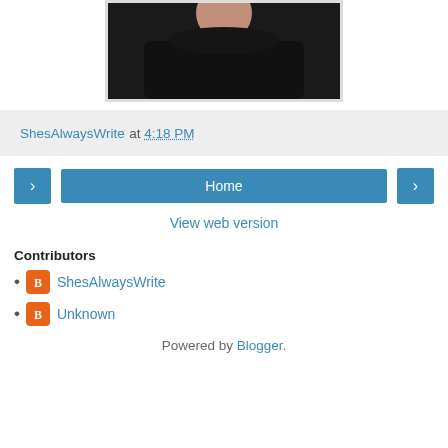[Figure (photo): Partial photo of a person wearing a black shirt, cropped to show torso and lower face area, inside a bordered frame]
ShesAlwaysWrite at 4:18 PM
Home (navigation buttons with prev/next arrows)
View web version
Contributors
ShesAlwaysWrite
Unknown
Powered by Blogger.